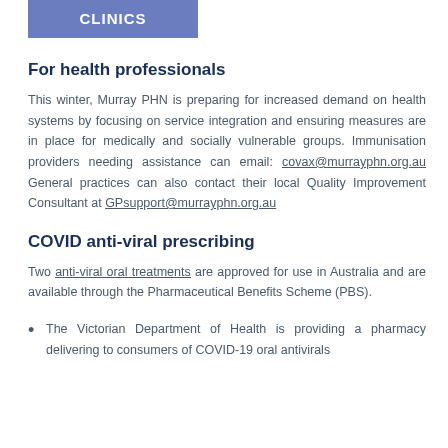[Figure (other): Purple/blue banner with white bold text 'CLINICS']
For health professionals
This winter, Murray PHN is preparing for increased demand on health systems by focusing on service integration and ensuring measures are in place for medically and socially vulnerable groups. Immunisation providers needing assistance can email: covax@murrayphn.org.au General practices can also contact their local Quality Improvement Consultant at GPsupport@murrayphn.org.au
COVID anti-viral prescribing
Two anti-viral oral treatments are approved for use in Australia and are available through the Pharmaceutical Benefits Scheme (PBS).
The Victorian Department of Health is providing a pharmacy delivering to consumers of COVID-19 oral antivirals